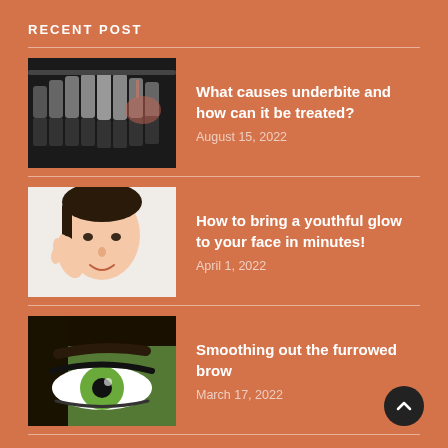RECENT POST
[Figure (photo): Dental X-ray showing teeth with a hand pointing to one tooth]
What causes underbite and how can it be treated?
August 15, 2022
[Figure (photo): Young Asian woman smiling and touching her face]
How to bring a youthful glow to your face in minutes!
April 1, 2022
[Figure (photo): Close-up of a woman's eye with dark eyebrow and green iris against a blurred green background]
Smoothing out the furrowed brow
March 17, 2022